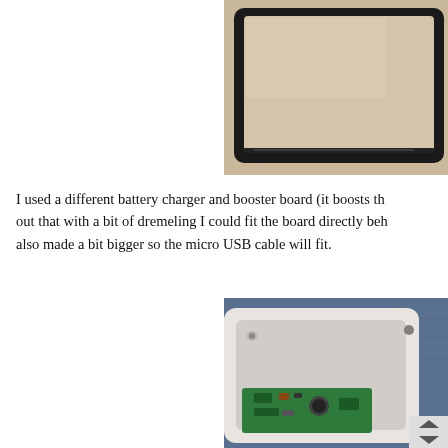[Figure (photo): Photo of a square black-framed glass/screen panel lying on a beige surface, viewed from above.]
I used a different battery charger and booster board (it boosts the out that with a bit of dremeling I could fit the board directly beh also made a bit bigger so the micro USB cable will fit.
[Figure (photo): Photo of a white plastic enclosure with a green circuit board (battery charger/booster) fitted inside, resting on a blue fabric surface.]